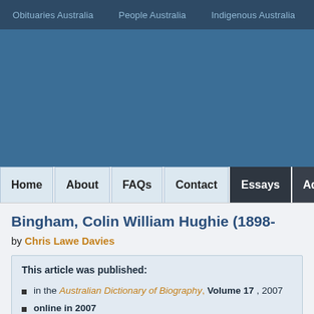Obituaries Australia  People Australia  Indigenous Australia  Wo...
[Figure (screenshot): Blue banner area serving as website header background]
Home  About  FAQs  Contact  Essays  Adv...
Bingham, Colin William Hughie (1898-
by Chris Lawe Davies
This article was published:
in the Australian Dictionary of Biography, Volume 17 , 2007
online in 2007